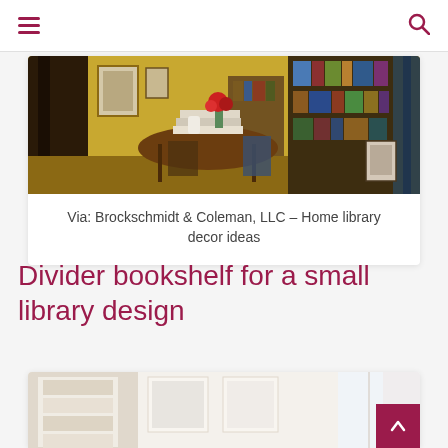Navigation header with hamburger menu and search icon
[Figure (photo): Interior photo of a home library with bookshelves filled with books, a round wooden table with stacked books and red flowers, framed artwork on walls, and warm lighting]
Via: Brockschmidt & Coleman, LLC – Home library decor ideas
Divider bookshelf for a small library design
[Figure (photo): Partial photo of a room with a divider bookshelf, light colored walls, and natural light from windows]